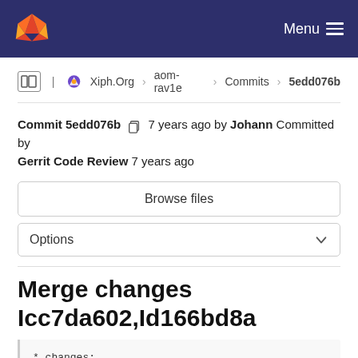GitLab — Menu
Xiph.Org › aom-rav1e › Commits › 5edd076b
Commit 5edd076b  7 years ago by Johann Committed by Gerrit Code Review 7 years ago
Browse files
Options
Merge changes Icc7da602,Id166bd8a
* changes:
  Remove last remnants of obj_int_extract
  Initialize "corrupted" to zero